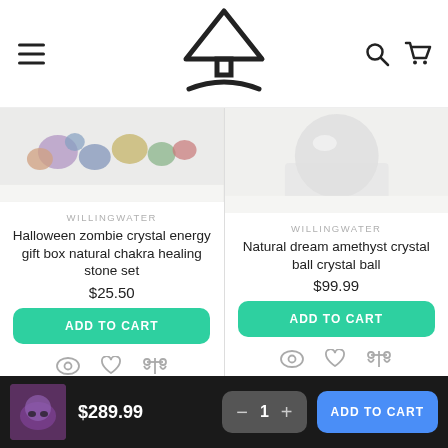[Figure (logo): WillingWater store logo — abstract tree/arrow shape icon centered in header navigation bar]
[Figure (photo): Left product image: colorful tumbled healing crystals and stones on white background]
WILLINGWATER
Halloween zombie crystal energy gift box natural chakra healing stone set
$25.50
ADD TO CART
[Figure (photo): Right product image: white/light amethyst crystal ball on white platform/stand]
WILLINGWATER
Natural dream amethyst crystal ball crystal ball
$99.99
ADD TO CART
$289.99
ADD TO CART